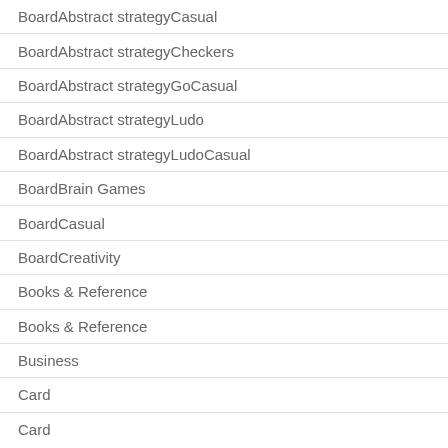BoardAbstract strategyCasual
BoardAbstract strategyCheckers
BoardAbstract strategyGoCasual
BoardAbstract strategyLudo
BoardAbstract strategyLudoCasual
BoardBrain Games
BoardCasual
BoardCreativity
Books & Reference
Books & Reference
Business
Card
Card